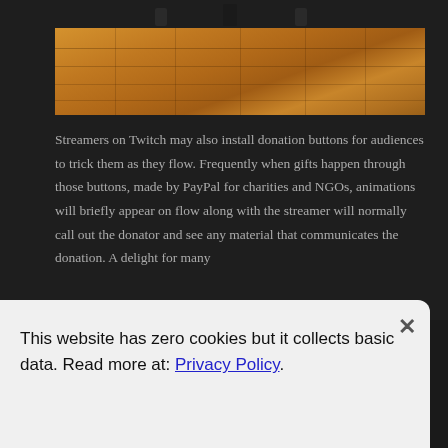[Figure (photo): Partial view of a wooden parquet floor with a rolling office chair visible at the top, dark background framing the image on left and right sides.]
Streamers on Twitch may also install donation buttons for audiences to trick them as they flow. Frequently when gifts happen through those buttons, made by PayPal for charities and NGOs, animations will briefly appear on flow along with the streamer will normally call out the donator and see any material that communicates the donation. A delight for many
This website has zero cookies but it collects basic data. Read more at: Privacy Policy.